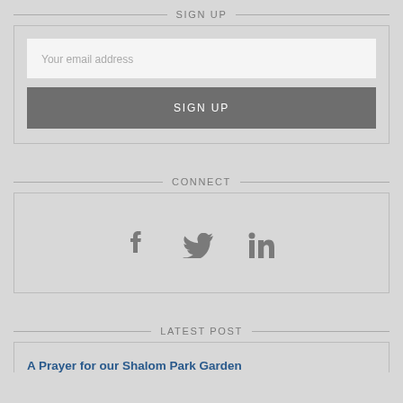SIGN UP
[Figure (screenshot): Sign up form with email input field and SIGN UP button]
CONNECT
[Figure (infographic): Social media icons: Facebook, Twitter, LinkedIn]
LATEST POST
A Prayer for our Shalom Park Garden